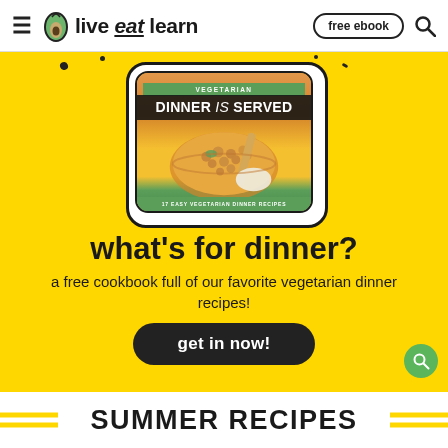≡ 🥑 live eat learn   free ebook 🔍
[Figure (illustration): Yellow hero banner featuring a cookbook cover titled 'VEGETARIAN DINNER IS SERVED – 17 Easy Vegetarian Dinner Recipes' with a chickpea bowl food photo inside a rounded rectangle frame with black border.]
what's for dinner?
a free cookbook full of our favorite vegetarian dinner recipes!
get in now!
SUMMER RECIPES